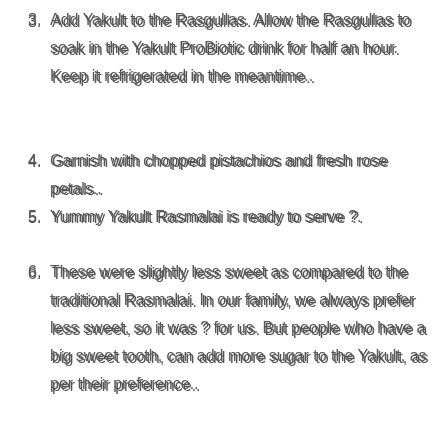3. Add Yakult to the Rasgullas. Allow the Rasgullas to soak in the Yakult ProBiotic drink for half an hour. Keep it refrigerated in the meantime..
4. Garnish with chopped pistachios and fresh rose petals..
5. Yummy Yakult Rasmalai is ready to serve ?.
6. These were slightly less sweet as compared to the traditional Rasmalai. In our family, we always prefer less sweet, so it was ? for us. But people who have a big sweet tooth, can add more sugar to the Yakult, as per their preference..
Ras Malai is dumplings made from cottage cheese soaked in sweetened, thickened milk delicately flavored with cardamom and. Urdu Recipes of Rasmalai, Easy Ras Malai food recipes in Urdu and English. Make easily at home with complete Step by Step instructions, and videos. Large collection of Pakistani and international recipies. #ras malai Ras Malai Recipe in Urdu & English available at Sooperchef.pk.